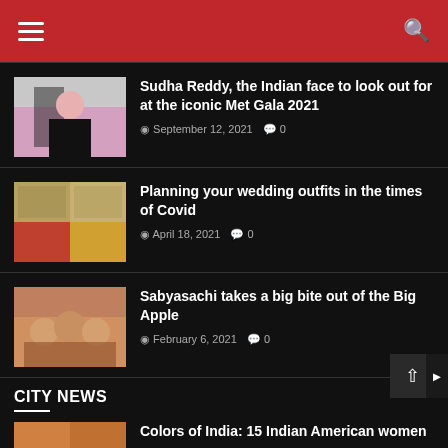Navigation header with hamburger menu and search icon
Sudha Reddy, the Indian face to look out for at the iconic Met Gala 2021
September 12, 2021  0
Planning your wedding outfits in the times of Covid
April 18, 2021  0
Sabyasachi takes a big bite out of the Big Apple
February 6, 2021  0
CITY NEWS
Colors of India: 15 Indian American women